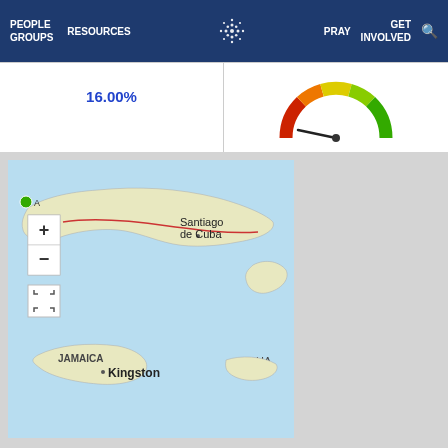PEOPLE GROUPS   RESOURCES   [logo]   PRAY   GET INVOLVED   [search]
16.00%
[Figure (other): Speedometer/gauge chart showing a needle pointing toward the lower-middle range, with red on left through orange, yellow, and green on the right]
[Figure (map): Interactive map showing the Caribbean region including Cuba with Santiago de Cuba labeled, Jamaica with Kingston labeled, and partial view of Haiti (HA). Map has zoom controls (+/-) and a fullscreen button.]